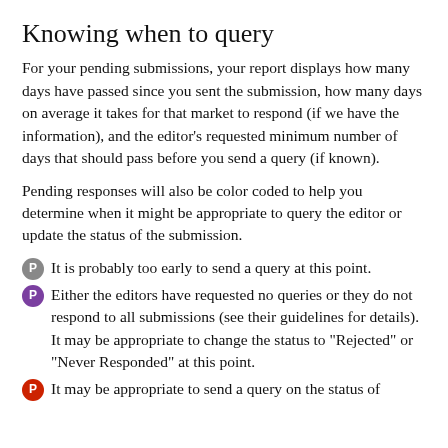Knowing when to query
For your pending submissions, your report displays how many days have passed since you sent the submission, how many days on average it takes for that market to respond (if we have the information), and the editor's requested minimum number of days that should pass before you send a query (if known).
Pending responses will also be color coded to help you determine when it might be appropriate to query the editor or update the status of the submission.
It is probably too early to send a query at this point.
Either the editors have requested no queries or they do not respond to all submissions (see their guidelines for details). It may be appropriate to change the status to "Rejected" or "Never Responded" at this point.
It may be appropriate to send a query on the status of